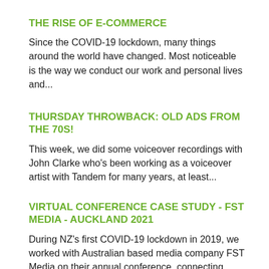THE RISE OF E-COMMERCE
Since the COVID-19 lockdown, many things around the world have changed. Most noticeable is the way we conduct our work and personal lives and...
THURSDAY THROWBACK: OLD ADS FROM THE 70S!
This week, we did some voiceover recordings with John Clarke who's been working as a voiceover artist with Tandem for many years, at least...
VIRTUAL CONFERENCE CASE STUDY - FST MEDIA - AUCKLAND 2021
During NZ's first COVID-19 lockdown in 2019, we worked with Australian based media company FST Media on their annual conference, connecting...